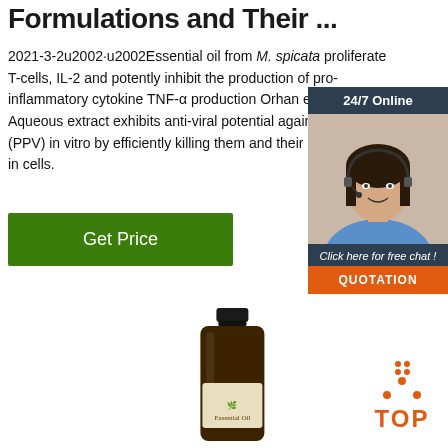Formulations and Their ...
2021-3-2u2002·u2002Essential oil from M. spicata proliferate T-cells, IL-2 and potently inhibit the production of pro-inflammatory cytokine TNF-α production Orhan et al. (2016) Aqueous extract exhibits anti-viral potential against parvovirus (PPV) in vitro by efficiently killing them and their multiplication in cells.
[Figure (other): Green 'Get Price' button]
[Figure (other): 24/7 Online chat widget with photo of customer service representative, 'Click here for free chat!' text, and orange QUOTATION button]
[Figure (photo): Amber glass essential oil bottle with black cap and cream label]
[Figure (other): Orange TOP icon with dots arranged in a triangle above the text TOP]